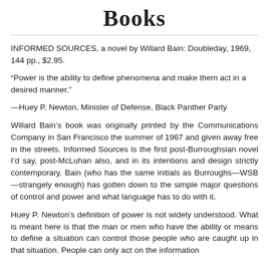Books
INFORMED SOURCES, a novel by Willard Bain: Doubleday, 1969, 144 pp., $2.95.
“Power is the ability to define phenomena and make them act in a desired manner.”
—Huey P. Newton, Minister of Defense, Black Panther Party
Willard Bain’s book was originally printed by the Communications Company in San Francisco the summer of 1967 and given away free in the streets. Informed Sources is the first post-Burroughsian novel I’d say, post-McLuhan also, and in its intentions and design strictly contemporary. Bain (who has the same initials as Burroughs—WSB—strangely enough) has gotten down to the simple major questions of control and power and what language has to do with it.
Huey P. Newton’s definition of power is not widely understood. What is meant here is that the man or men who have the ability or means to define a situation can control those people who are caught up in that situation. People can only act on the information